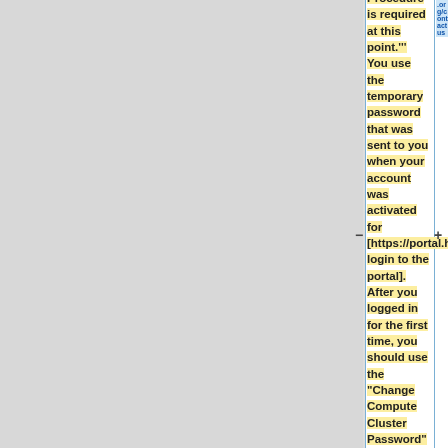Procedure is required at this point.''' You use the temporary password that was sent to you when your account was activated for [https://portal.hpcvl.queensu.ca login to the portal]. After you logged in for the first time, you should use the "Change Compute Cluster Password" application at the top left to
.org/contact us